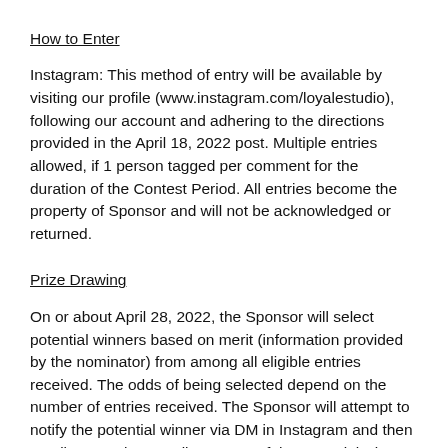How to Enter
Instagram: This method of entry will be available by visiting our profile (www.instagram.com/loyalestudio), following our account and adhering to the directions provided in the April 18, 2022 post. Multiple entries allowed, if 1 person tagged per comment for the duration of the Contest Period. All entries become the property of Sponsor and will not be acknowledged or returned.
Prize Drawing
On or about April 28, 2022, the Sponsor will select potential winners based on merit (information provided by the nominator) from among all eligible entries received. The odds of being selected depend on the number of entries received. The Sponsor will attempt to notify the potential winner via DM in Instagram and then email, on or about April 28, 2022. If the potential winner cannot be contacted within five (5) days after the date of the first attempt to contact him/her, the Sponsor